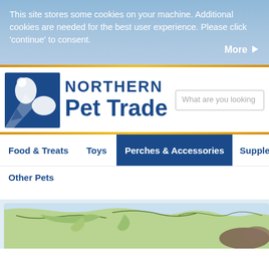This site stores some cookies on your machine. Additional cookies are needed for the best user experience. Please click 'continue' to consent.
More ▶
[Figure (logo): Northern Pet Trade logo with blue square containing animal silhouettes and bold blue text reading 'NORTHERN Pet Trade']
What are you looking
Food & Treats
Toys
Perches & Accessories
Supplements
Other Pets
[Figure (illustration): Partial banner image showing a green and blue illustrated map with animal outlines, partially cropped at bottom of page]